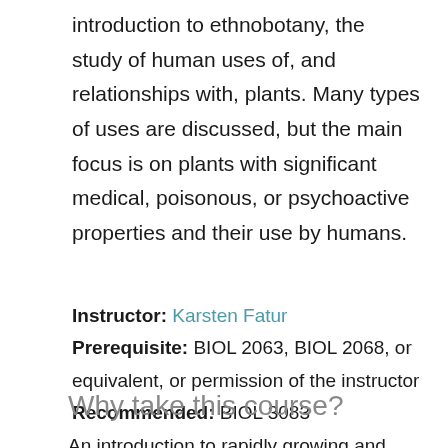introduction to ethnobotany, the study of human uses of, and relationships with, plants. Many types of uses are discussed, but the main focus is on plants with significant medical, poisonous, or psychoactive properties and their use by humans.
Instructor: Karsten Fatur
Prerequisite: BIOL 2063, BIOL 2068, or equivalent, or permission of the instructor
Recommended: BIOL 3083
Why take this course?
An introduction to rapidly growing and